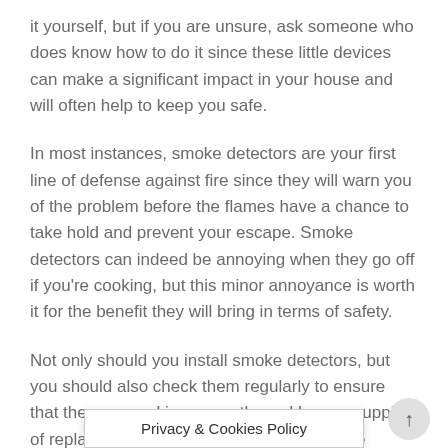it yourself, but if you are unsure, ask someone who does know how to do it since these little devices can make a significant impact in your house and will often help to keep you safe.
In most instances, smoke detectors are your first line of defense against fire since they will warn you of the problem before the flames have a chance to take hold and prevent your escape. Smoke detectors can indeed be annoying when they go off if you're cooking, but this minor annoyance is worth it for the benefit they will bring in terms of safety.
Not only should you install smoke detectors, but you should also check them regularly to ensure that they are working correctly, and have a supply of replacement batteries on hand in case the existing ones run out.
Privacy & Cookies Policy